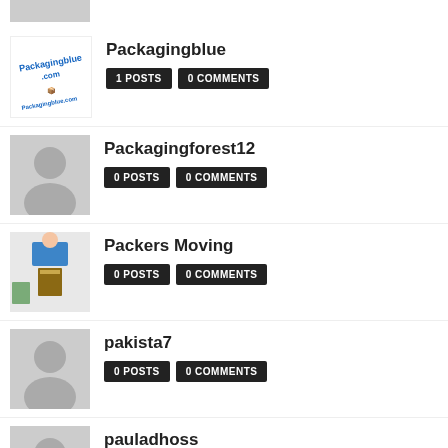Packagingblue | 1 POSTS | 0 COMMENTS
Packagingforest12 | 0 POSTS | 0 COMMENTS
Packers Moving | 0 POSTS | 0 COMMENTS
pakista7 | 0 POSTS | 0 COMMENTS
pauladhoss | 0 POSTS | 0 COMMENTS